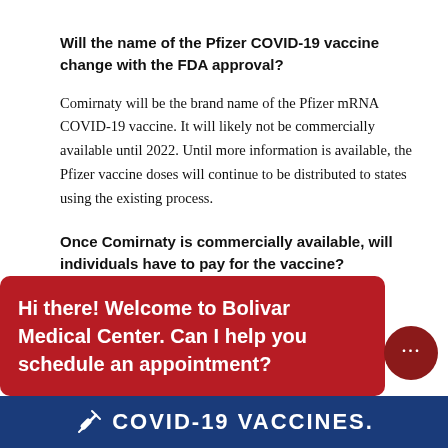Will the name of the Pfizer COVID-19 vaccine change with the FDA approval?
Comirnaty will be the brand name of the Pfizer mRNA COVID-19 vaccine. It will likely not be commercially available until 2022. Until more information is available, the Pfizer vaccine doses will continue to be distributed to states using the existing process.
Once Comirnaty is commercially available, will individuals have to pay for the vaccine?
Cost and pricing information is not yet available for the
[Figure (screenshot): Chat overlay popup in dark red saying 'Hi there! Welcome to Bolivar Medical Center. Can I help you schedule an appointment?' with a chat bubble button on the right and a blue COVID-19 VACCINES banner at the bottom.]